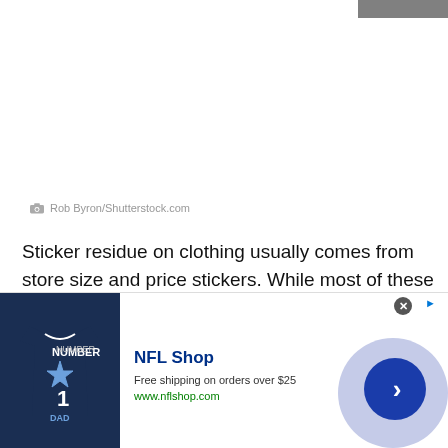[Figure (screenshot): Gray button in top-right corner of the page]
Rob Byron/Shutterstock.com
Sticker residue on clothing usually comes from store size and price stickers. While most of these tend to peel off pretty easily, some might not. Other stickers, like name tags, can leave a residue on your favorite blouse.
[Figure (screenshot): NFL Shop advertisement banner with Dallas Cowboys jersey image, NFL Shop logo, text 'Free shipping on orders over $25', 'www.nflshop.com', close button, and a blue circular arrow button on lavender background]